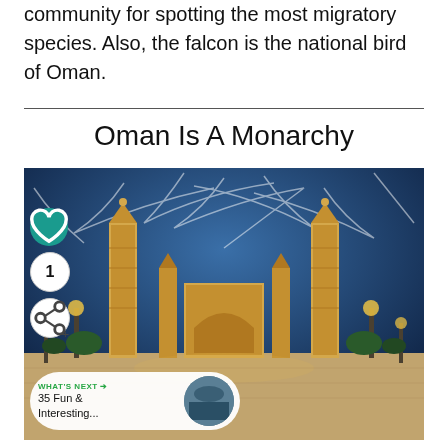community for spotting the most migratory species. Also, the falcon is the national bird of Oman.
Oman Is A Monarchy
[Figure (photo): Night-time photo of a grand mosque with illuminated minarets against a dramatic blue sky with streaking clouds, wide courtyard in the foreground with golden lamp posts.]
WHAT'S NEXT → 35 Fun & Interesting...